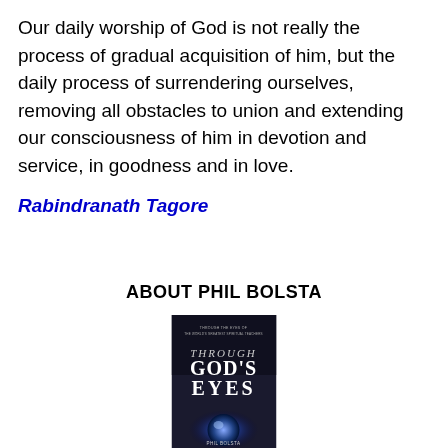Our daily worship of God is not really the process of gradual acquisition of him, but the daily process of surrendering ourselves, removing all obstacles to union and extending our consciousness of him in devotion and service, in goodness and in love.
Rabindranath Tagore
ABOUT PHIL BOLSTA
[Figure (photo): Book cover of 'Through God's Eyes' showing the title text against a dark background with a glowing orb/eye at the bottom]